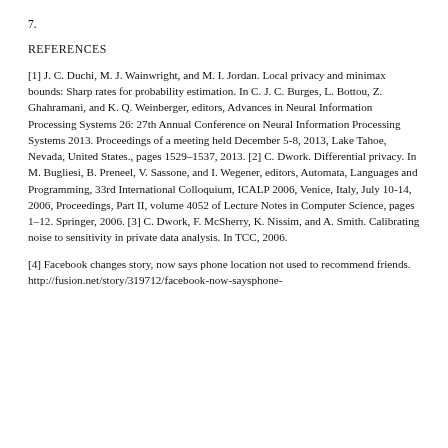7.
REFERENCES
[1] J. C. Duchi, M. J. Wainwright, and M. I. Jordan. Local privacy and minimax bounds: Sharp rates for probability estimation. In C. J. C. Burges, L. Bottou, Z. Ghahramani, and K. Q. Weinberger, editors, Advances in Neural Information Processing Systems 26: 27th Annual Conference on Neural Information Processing Systems 2013. Proceedings of a meeting held December 5-8, 2013, Lake Tahoe, Nevada, United States., pages 1529–1537, 2013. [2] C. Dwork. Differential privacy. In M. Bugliesi, B. Preneel, V. Sassone, and I. Wegener, editors, Automata, Languages and Programming, 33rd International Colloquium, ICALP 2006, Venice, Italy, July 10-14, 2006, Proceedings, Part II, volume 4052 of Lecture Notes in Computer Science, pages 1–12. Springer, 2006. [3] C. Dwork, F. McSherry, K. Nissim, and A. Smith. Calibrating noise to sensitivity in private data analysis. In TCC, 2006.
[4] Facebook changes story, now says phone location not used to recommend friends. http://fusion.net/story/319712/facebook-now-saysphone-